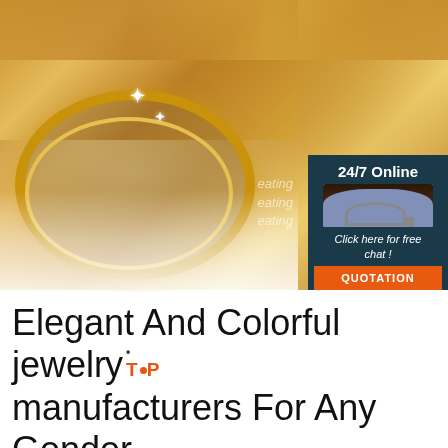[Figure (photo): Photo of elegant gold-toned jewelry boxes and ornate gold mirror frame on white fluffy fur background. In the upper right corner is an overlay panel showing '24/7 Online' with a customer service agent photo and 'Click here for free chat!' text, with an orange QUOTATION button.]
Elegant And Colorful jewelry manufacturers For Any Gender ...